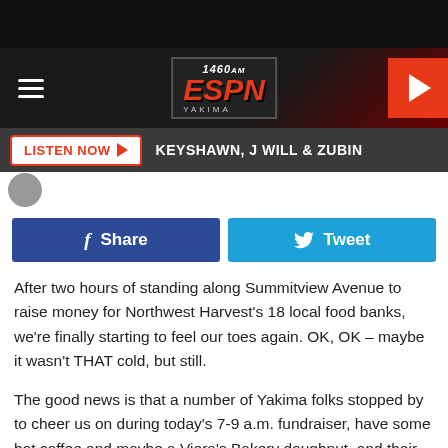[Figure (screenshot): 1460 ESPN Yakima radio station navigation bar with hamburger menu, logo, and play button]
[Figure (screenshot): Listen Now button and show name bar reading KEYSHAWN, J WILL & ZUBIN]
[Figure (screenshot): Facebook Share and Twitter Tweet social sharing buttons]
After two hours of standing along Summitview Avenue to raise money for Northwest Harvest's 18 local food banks, we're finally starting to feel our toes again. OK, OK – maybe it wasn't THAT cold, but still.
The good news is that a number of Yakima folks stopped by to cheer us on during today's 7-9 a.m. fundraiser, have some hot coffee and maybe a Viera's Bakery doughnut, and their donations were much appreciated. Several folks even slipped